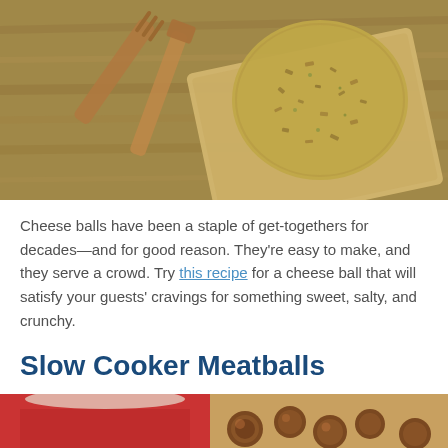[Figure (photo): Overhead photo of a cheese ball covered in nuts on a wooden cutting board with wooden serving utensils on a wooden table surface]
Cheese balls have been a staple of get-togethers for decades—and for good reason. They're easy to make, and they serve a crowd. Try this recipe for a cheese ball that will satisfy your guests' cravings for something sweet, salty, and crunchy.
Slow Cooker Meatballs
[Figure (photo): Partial photo of slow cooker meatballs, partially visible at the bottom of the page]